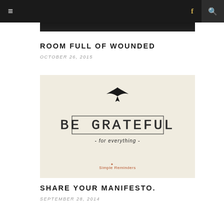Navigation bar with hamburger menu, Facebook icon, and search icon
[Figure (photo): Dark/black partial photo at top, partially cut off]
ROOM FULL OF WOUNDED
OCTOBER 26, 2015
[Figure (illustration): Inspirational quote card with bird silhouette, text 'BE GRATEFUL - for everything -', and Simple Reminders branding on cream background]
SHARE YOUR MANIFESTO.
SEPTEMBER 28, 2014